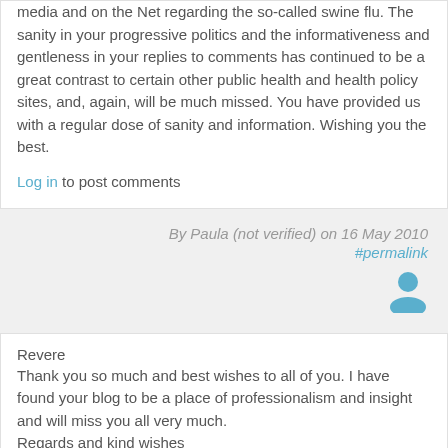media and on the Net regarding the so-called swine flu. The sanity in your progressive politics and the informativeness and gentleness in your replies to comments has continued to be a great contrast to certain other public health and health policy sites, and, again, will be much missed. You have provided us with a regular dose of sanity and information. Wishing you the best.
Log in to post comments
By Paula (not verified) on 16 May 2010
#permalink
[Figure (illustration): User avatar icon in teal/blue color]
Revere
Thank you so much and best wishes to all of you. I have found your blog to be a place of professionalism and insight and will miss you all very much.
Regards and kind wishes
Denise